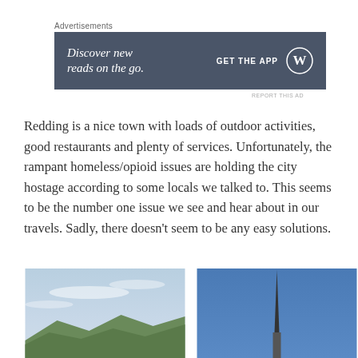Advertisements
[Figure (other): Advertisement banner with dark slate background. Left side reads 'Discover new reads on the go.' in white italic serif font. Right side shows 'GET THE APP' text and a WordPress logo circle icon in white.]
REPORT THIS AD
Redding is a nice town with loads of outdoor activities, good restaurants and plenty of services. Unfortunately, the rampant homeless/opioid issues are holding the city hostage according to some locals we talked to. This seems to be the number one issue we see and hear about in our travels. Sadly, there doesn't seem to be any easy solutions.
[Figure (photo): Photo of a sky with wispy clouds and mountains or hills with trees visible at the bottom.]
[Figure (photo): Photo of a clear blue sky with a tall spire or needle structure visible in the center.]